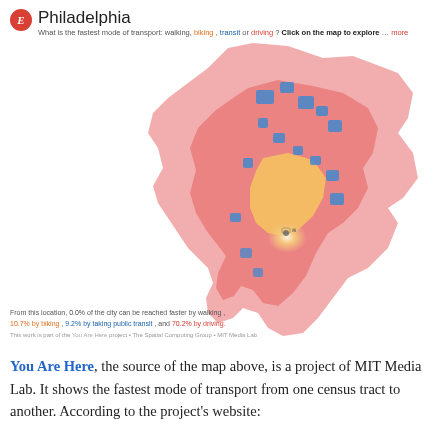Philadelphia — What is the fastest mode of transport: walking, biking, transit or driving? Click on the map to explore … more
[Figure (map): Choropleth map of Philadelphia showing fastest mode of transport from a central location. Colors indicate walking (white/light), biking (orange), transit (blue patches), and driving (red/pink) zones across census tracts.]
From this location, 0.0% of the city can be reached faster by walking, 10.7% by biking, 9.2% by taking public transit, and 70.2% by driving.
This work is part of the You Are Here project • The Spatial Computing Group • MIT Media Lab
You Are Here, the source of the map above, is a project of MIT Media Lab. It shows the fastest mode of transport from one census tract to another. According to the project's website: